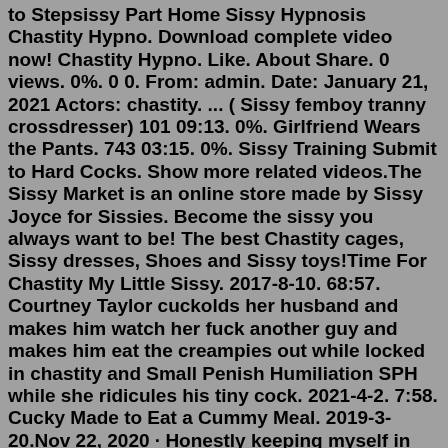to Stepsissy Part. Home Sissy Hypnosis Chastity Hypno. Download complete video now! Chastity Hypno. Like. About Share. 0 views. 0%. 0 0. From: admin. Date: January 21, 2021 Actors: chastity. ... ( Sissy femboy tranny crossdresser) 101 09:13. 0%. Girlfriend Wears the Pants. 743 03:15. 0%. Sissy Training Submit to Hard Cocks. Show more related videos.The Sissy Market is an online store made by Sissy Joyce for Sissies. Become the sissy you always want to be! The best Chastity cages, Sissy dresses, Shoes and Sissy toys!Time For Chastity My Little Sissy. 2017-8-10. 68:57. Courtney Taylor cuckolds her husband and makes him watch her fuck another guy and makes him eat the creampies out while locked in chastity and Small Penish Humiliation SPH while she ridicules his tiny cock. 2021-4-2. 7:58. Cucky Made to Eat a Cummy Meal. 2019-3-20.Nov 22, 2020 · Honestly keeping myself in chastity was the best thing I could've done in my sissy life. I just lock my clitty up and work on becoming more feminine. My clitty used to distract me too much and I would only dress